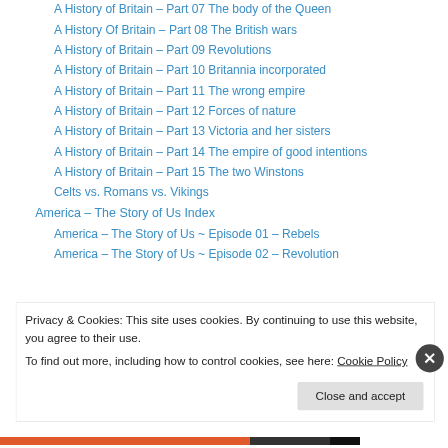A History of Britain – Part 07 The body of the Queen
A History Of Britain – Part 08 The British wars
A History of Britain – Part 09 Revolutions
A History of Britain – Part 10 Britannia incorporated
A History of Britain – Part 11 The wrong empire
A History of Britain – Part 12 Forces of nature
A History of Britain – Part 13 Victoria and her sisters
A History of Britain – Part 14 The empire of good intentions
A History of Britain – Part 15 The two Winstons
Celts vs. Romans vs. Vikings
America – The Story of Us Index
America – The Story of Us ~ Episode 01 – Rebels
America – The Story of Us ~ Episode 02 – Revolution
Privacy & Cookies: This site uses cookies. By continuing to use this website, you agree to their use.
To find out more, including how to control cookies, see here: Cookie Policy